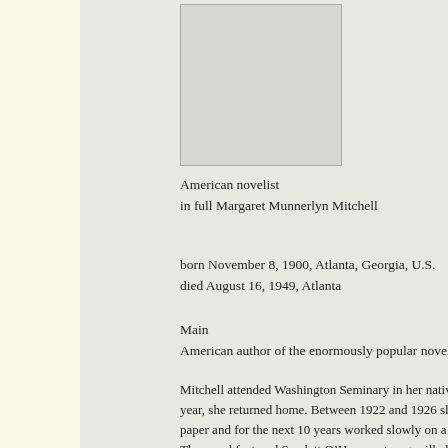[Figure (photo): Photograph placeholder box for Margaret Mitchell]
American novelist
in full Margaret Munnerlyn Mitchell
born November 8, 1900, Atlanta, Georgia, U.S.
died August 16, 1949, Atlanta
Main
American author of the enormously popular novel Gone with t
Mitchell attended Washington Seminary in her native Atlanta, year, she returned home. Between 1922 and 1926 she was a wr paper and for the next 10 years worked slowly on a romantic n The novel featured Scarlett O’Hara, a strong-willed coquette a tragedy of the war, and the romance of the Lost Cause. She wo them together. She apparently had little thought of publication